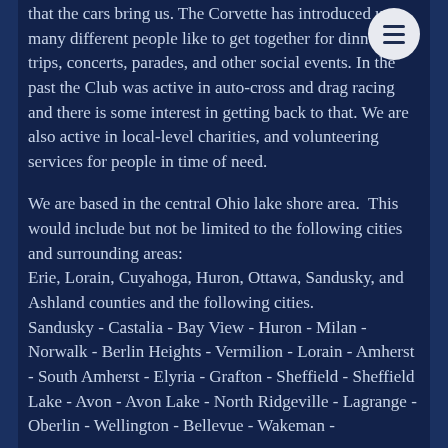that the cars bring us. The Corvette has introduced us to many different people like to get together for dinners, trips, concerts, parades, and other social events. In the past the Club was active in auto-cross and drag racing and there is some interest in getting back to that. We are also active in local-level charities, and volunteering services for people in time of need.
We are based in the central Ohio lake shore area. This would include but not be limited to the following cities and surrounding areas: Erie, Lorain, Cuyahoga, Huron, Ottawa, Sandusky, and Ashland counties and the following cities. Sandusky - Castalia - Bay View - Huron - Milan - Norwalk - Berlin Heights - Vermilion - Lorain - Amherst - South Amherst - Elyria - Grafton - Sheffield - Sheffield Lake - Avon - Avon Lake - North Ridgeville - Lagrange - Oberlin - Wellington - Bellevue - Wakeman -